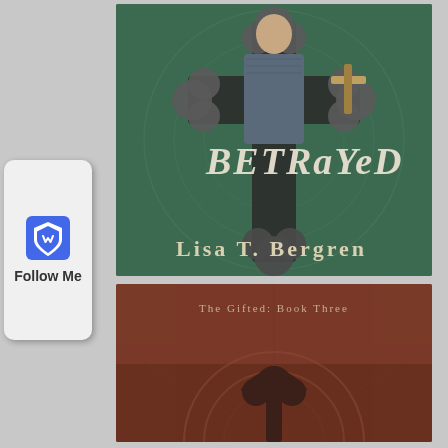[Figure (illustration): Follow Me sidebar button with Brave browser shield logo in blue and white, text says Follow Me]
[Figure (photo): Book cover for BETRAYED by Lisa T. Bergren. Shows a medieval knight in chainmail holding a sword, partially visible through a large ornate cross shape cutout. Background is dark teal/green with decorative patterns. Title BETRAYED in large silver letters, author name LISA T. BERGREN at bottom.]
[Figure (photo): Partial book cover showing The Gifted: Book Three. Dark reddish-brown background with decorative circular arch motif at bottom center. Text THE GIFTED: BOOK THREE visible at top.]